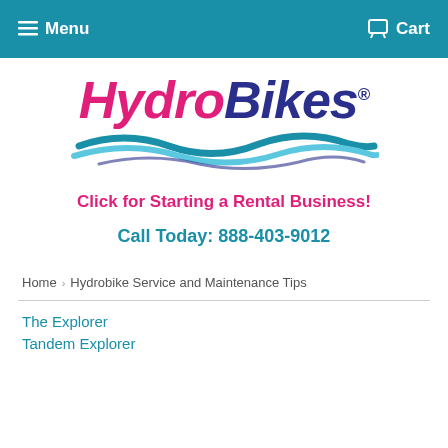Menu  Cart
[Figure (logo): HydroBikes logo with pink italic 'Hydro' and dark blue bold 'Bikes' text, with wave design underneath]
Click for Starting a Rental Business!
Call Today: 888-403-9012
Home › Hydrobike Service and Maintenance Tips
The Explorer
Tandem Explorer